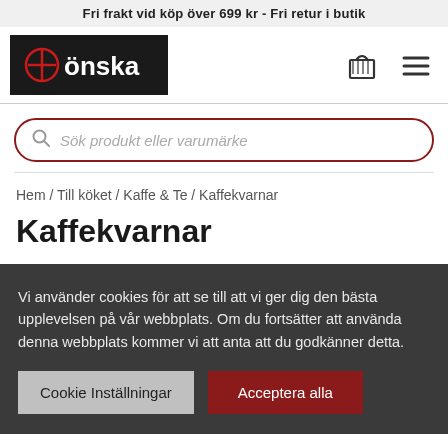Fri frakt vid köp över 699 kr - Fri retur i butik
[Figure (logo): Önska logo — white text on black background with a stylized red circle icon]
Sök produkt eller varumärke
Hem / Till köket / Kaffe & Te / Kaffekvarnar
Kaffekvarnar
Vi använder cookies för att se till att vi ger dig den bästa upplevelsen på vår webbplats. Om du fortsätter att använda denna webbplats kommer vi att anta att du godkänner detta.
Cookie Inställningar
Acceptera alla